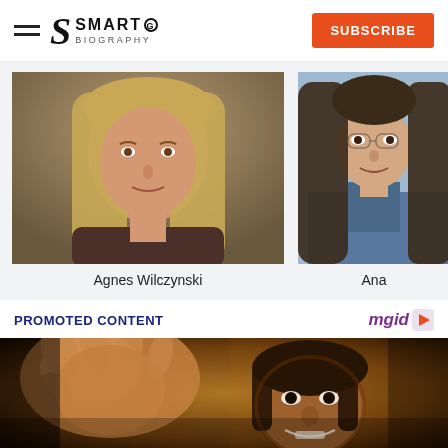SMARTO BIOGRAPHY | SUBSCRIBE
[Figure (photo): Photo of Agnes Wilczynski, a woman with long blonde hair]
Agnes Wilczynski
[Figure (photo): Partial photo of another person (Ana) with long dark hair wearing a denim jacket]
Ana
PROMOTED CONTENT
[Figure (photo): Close-up action photo of a martial arts performer (resembling Bruce Lee) reaching toward the camera with a dramatic expression, warm sepia/golden tones]